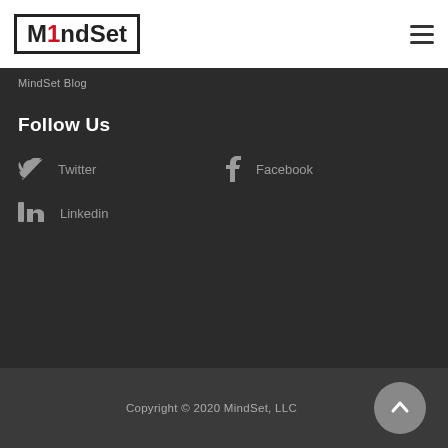[Figure (logo): M1NDSET logo in bold black text with red '1', inside a black rectangle border]
MindSet Blog
Follow Us
Twitter
Facebook
Linkedin
Copyright © 2020 MindSet, LLC